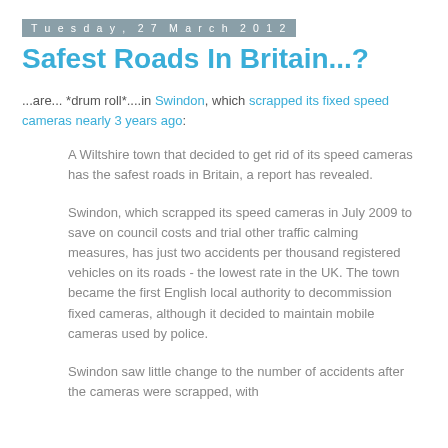Tuesday, 27 March 2012
Safest Roads In Britain...?
...are... *drum roll*....in Swindon, which scrapped its fixed speed cameras nearly 3 years ago:
A Wiltshire town that decided to get rid of its speed cameras has the safest roads in Britain, a report has revealed.
Swindon, which scrapped its speed cameras in July 2009 to save on council costs and trial other traffic calming measures, has just two accidents per thousand registered vehicles on its roads - the lowest rate in the UK. The town became the first English local authority to decommission fixed cameras, although it decided to maintain mobile cameras used by police.
Swindon saw little change to the number of accidents after the cameras were scrapped, with